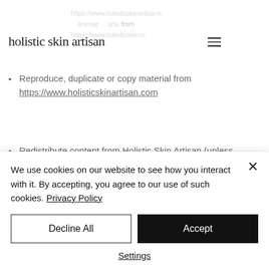holistic skin artisan
Reproduce, duplicate or copy material from https://www.holisticskinartisan.com
Redistribute content from Holistic Skin Artisan (unless content is specifically made for redistribution).
Hyperlinking to our Content
The following organizations may link to our Web site without prior written approval:
We use cookies on our website to see how you interact with it. By accepting, you agree to our use of such cookies. Privacy Policy
Decline All
Accept
Settings